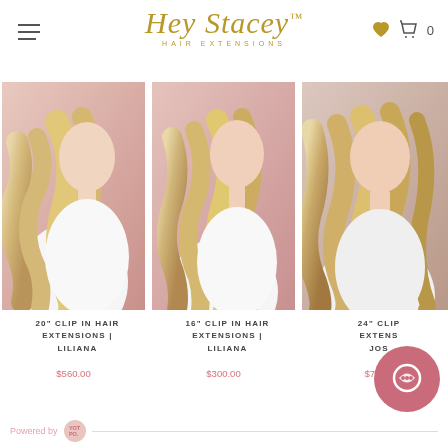Hey Stacey Hair Extensions - navigation header with hamburger menu, logo, heart icon, and cart (0)
[Figure (photo): Product photo: woman with long wavy blonde hair extensions, pink background]
20" CLIP IN HAIR EXTENSIONS | LILIANA
$560.00
[Figure (photo): Product photo: woman with long wavy blonde hair extensions, pink background]
16" CLIP IN HAIR EXTENSIONS | LILIANA
$300.00
[Figure (photo): Product photo: woman with long wavy blonde hair extensions, partially cropped, pink background]
24" CLIP IN HAIR EXTENSIONS | JOSE
$760
Powered by Yotpo